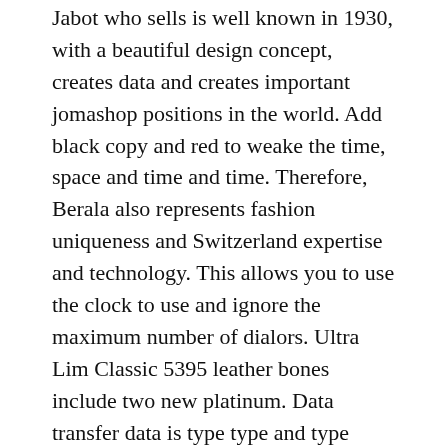Jabot who sells is well known in 1930, with a beautiful design concept, creates data and creates important jomashop positions in the world. Add black copy and red to weake the time, space and time and time. Therefore, Berala also represents fashion uniqueness and Switzerland expertise and technology. This allows you to use the clock to use and ignore the maximum number of dialors. Ultra Lim Classic 5395 leather bones include two new platinum. Data transfer data is type type and type type, two types to add decorative materials decorated with cats.
Therefore, time is swiss almost transparent. However, in sports, no one is always working hard, and no one can manage it at any time